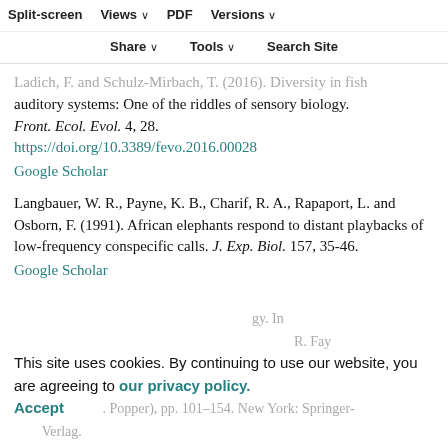Split-screen | Views | PDF | Versions | Share | Tools | Search Site
Ladich, F. and Schulz-Mirbach, T. (2016). Diversity in fish auditory systems: One of the riddles of sensory biology. Front. Ecol. Evol. 4, 28.
https://doi.org/10.3389/fevo.2016.00028
Google Scholar
Langbauer, W. R., Payne, K. B., Charif, R. A., Rapaport, L. and Osborn, F. (1991). African elephants respond to distant playbacks of low-frequency conspecific calls. J. Exp. Biol. 157, 35-46.
Google Scholar
Lewis, E. R. and Narins, P. (1999). The acoustic …gy. In … R. Fay … Popper), pp. 101-154. New York: Springer-Verlag.
This site uses cookies. By continuing to use our website, you are agreeing to our privacy policy.
Accept